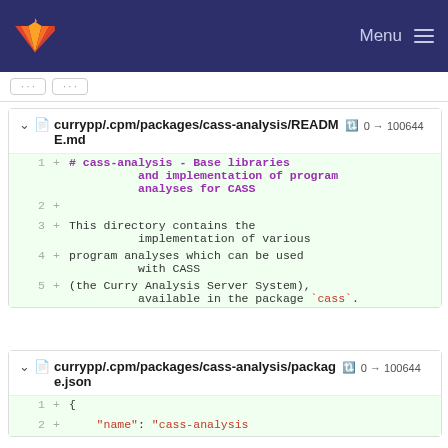Menu
currypp/.cpm/packages/cass-analysis/README.md  0 → 100644
1  + # cass-analysis - Base libraries and implementation of program analyses for CASS
2  +
3  + This directory contains the implementation of various
4  + program analyses which can be used with CASS
5  + (the Curry Analysis Server System), available in the package `cass`.
currypp/.cpm/packages/cass-analysis/package.json  0 → 100644
1  + {
2  +     "name": "cass-analysis"